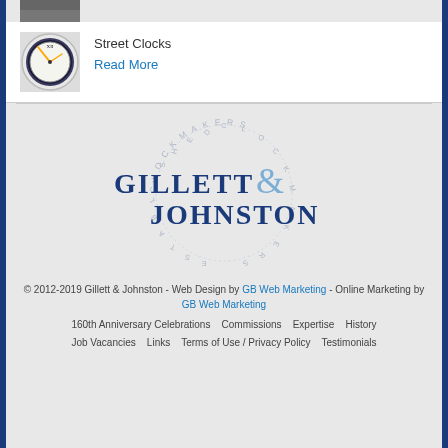[Figure (photo): Partial top image of a street clock or building, cropped at top]
[Figure (photo): Thumbnail photo of a round street clock face with orange hands showing approximately 10:10, roman numeral XII at top]
Street Clocks
Read More
[Figure (logo): Gillett & Johnston circular clockmakers logo with text 'CLOCKMAKERS ESTABLISHED 1844' arranged in a circle, with large blue 'GILLETT & JOHNSTON' text in the center]
© 2012-2019 Gillett & Johnston - Web Design by GB Web Marketing - Online Marketing by GB Web Marketing
160th Anniversary Celebrations   Commissions   Expertise   History   Job Vacancies   Links   Terms of Use / Privacy Policy   Testimonials